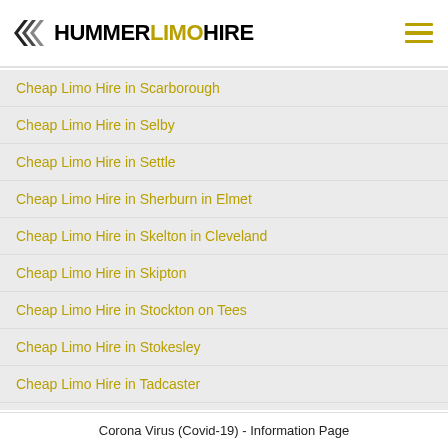HUMMERLIMOHIRE
Cheap Limo Hire in Scarborough
Cheap Limo Hire in Selby
Cheap Limo Hire in Settle
Cheap Limo Hire in Sherburn in Elmet
Cheap Limo Hire in Skelton in Cleveland
Cheap Limo Hire in Skipton
Cheap Limo Hire in Stockton on Tees
Cheap Limo Hire in Stokesley
Cheap Limo Hire in Tadcaster
Cheap Limo Hire in Thirsk
Corona Virus (Covid-19) - Information Page